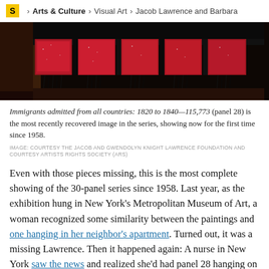S > Arts & Culture > Visual Art > Jacob Lawrence and Barbara
[Figure (photo): Painting showing red textile panels with black tassels hanging against a dark background, part of Jacob Lawrence's immigration series. Panel 28: Immigrants admitted from all countries: 1820 to 1840—115,773.]
Immigrants admitted from all countries: 1820 to 1840—115,773 (panel 28) is the most recently recovered image in the series, showing now for the first time since 1958.
IMAGE: COURTESY THE JACOB AND GWENDOLYN KNIGHT LAWRENCE FOUNDATION AND COURTESY ARTISTS RIGHTS SOCIETY (ARS)
Even with those pieces missing, this is the most complete showing of the 30-panel series since 1958. Last year, as the exhibition hung in New York's Metropolitan Museum of Art, a woman recognized some similarity between the paintings and one hanging in her neighbor's apartment. Turned out, it was a missing Lawrence. Then it happened again: A nurse in New York saw the news and realized she'd had panel 28 hanging on her dining room wall for a couple decades.